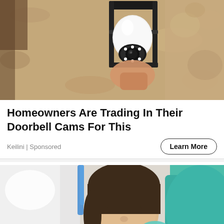[Figure (photo): A security camera disguised as a light bulb, screwed into an outdoor lantern fixture mounted on a textured beige/tan stucco wall. A hand is visible holding/installing the device.]
Homeowners Are Trading In Their Doorbell Cams For This
Keilini | Sponsored
[Figure (photo): A young girl smiling while reclined in a dental chair, with a dental professional in white coat and teal/mint gloves working near her. Teal dental equipment is visible on the right side.]